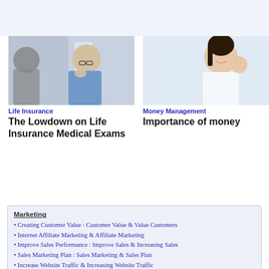[Figure (photo): Person in blue shirt consulting with someone, blurred background with furniture]
Life Insurance
The Lowdown on Life Insurance Medical Exams
[Figure (photo): Smiling young Asian woman in white top making an OK gesture]
Money Management
Importance of money
Marketing
Creating Customer Value : Customer Value & Value Customers
Internet Affiliate Marketing & Affiliate Marketing
Improve Sales Performance : Improve Sales & Increasing Sales
Sales Marketing Plan : Sales Marketing & Sales Plan
Increase Website Traffic & Increasing Website Traffic
How to Write Ads : Advertising Writing & Writing Ads